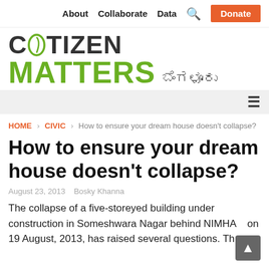About   Collaborate   Data   🔍   Donate
[Figure (logo): Citizen Matters Bengaluru logo with leaf icon in the letter I]
HOME › CIVIC › How to ensure your dream house doesn't collapse?
How to ensure your dream house doesn't collapse?
August 23, 2013   Bosky Khanna
The collapse of a five-storeyed building under construction in Someshwara Nagar behind NIMHA    on 19 August, 2013, has raised several questions. Th...